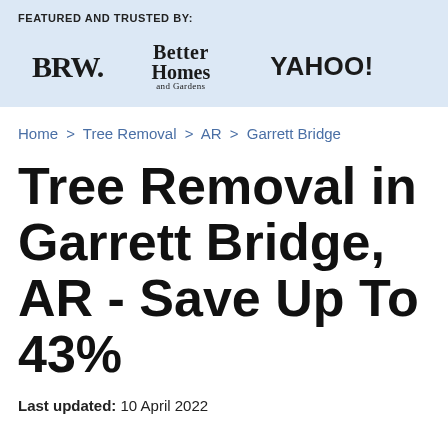FEATURED AND TRUSTED BY:
[Figure (logo): Three publication logos: BRW., Better Homes and Gardens, YAHOO!]
Home > Tree Removal > AR > Garrett Bridge
Tree Removal in Garrett Bridge, AR - Save Up To 43%
Last updated: 10 April 2022